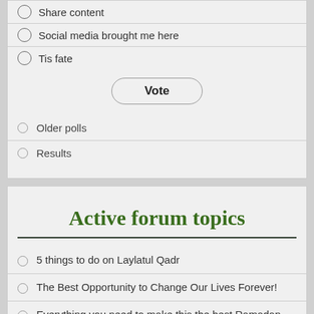Share content
Social media brought me here
Tis fate
Vote
Older polls
Results
Active forum topics
5 things to do on Laylatul Qadr
The Best Opportunity to Change Our Lives Forever!
Everything you need to make this the best Ramadan EVER!
Para 17